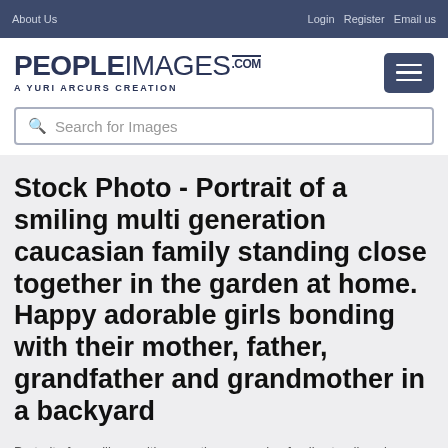About Us | Login  Register  Email us
[Figure (logo): PEOPLEIMAGES.COM logo with tagline A YURI ARCURS CREATION and hamburger menu button]
Search for Images
Stock Photo - Portrait of a smiling multi generation caucasian family standing close together in the garden at home. Happy adorable girls bonding with their mother, father, grandfather and grandmother in a backyard
Portrait of a smiling multi generation caucasian family standing close together in the garden at home. Happy adorable girls bonding with their mother, father, grandfather and grandmother in a backyard - Stock Photo